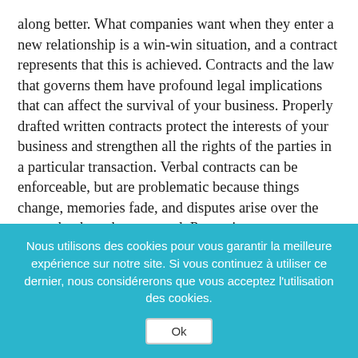along better. What companies want when they enter a new relationship is a win-win situation, and a contract represents that this is achieved. Contracts and the law that governs them have profound legal implications that can affect the survival of your business. Properly drafted written contracts protect the interests of your business and strengthen all the rights of the parties in a particular transaction. Verbal contracts can be enforceable, but are problematic because things change, memories fade, and disputes arise over the terms that have been agreed. Protecting your company`s interests and enforcing rights under a contract is much more difficult without a well-written and enforceable contract. This is certainly one of the reasons why a written contract is essential for
Nous utilisons des cookies pour vous garantir la meilleure expérience sur notre site. Si vous continuez à utiliser ce dernier, nous considérerons que vous acceptez l'utilisation des cookies.